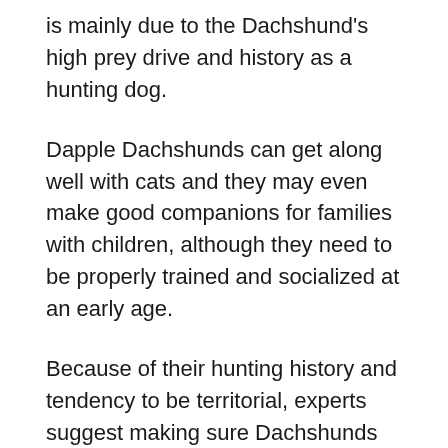is mainly due to the Dachshund's high prey drive and history as a hunting dog.
Dapple Dachshunds can get along well with cats and they may even make good companions for families with children, although they need to be properly trained and socialized at an early age.
Because of their hunting history and tendency to be territorial, experts suggest making sure Dachshunds are properly socialized in a variety of situations so they can grow up happy and healthy.